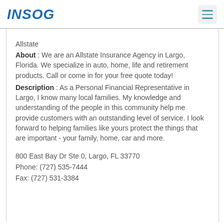INSOG
Allstate
About : We are an Allstate Insurance Agency in Largo, Florida. We specialize in auto, home, life and retirement products. Call or come in for your free quote today!
Description : As a Personal Financial Representative in Largo, I know many local families. My knowledge and understanding of the people in this community help me provide customers with an outstanding level of service. I look forward to helping families like yours protect the things that are important - your family, home, car and more.
800 East Bay Dr Ste 0, Largo, FL 33770
Phone: (727) 535-7444
Fax: (727) 531-3384